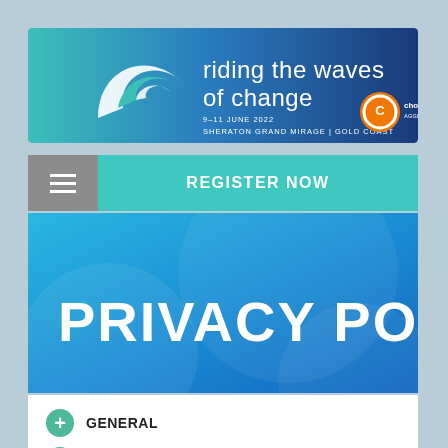[Figure (screenshot): Conference banner for 'riding the waves of change', 9-11 June 2022, Sheraton Grand Mirage, Gold Coast. Teal and blue gradient background with white wave logo and Choice Aggregation Services logo.]
REGISTER NOW
PRIVACY POLICY
GENERAL